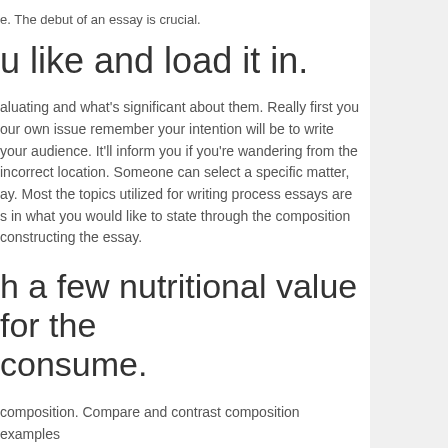e. The debut of an essay is crucial.
u like and load it in.
aluating and what’s significant about them. Really first you our own issue remember your intention will be to write your audience. It’ll inform you if you’re wandering from the incorrect location. Someone can select a specific matter, ay. Most the topics utilized for writing process essays are s in what you would like to state through the composition constructing the essay.
h a few nutritional value for the consume.
composition. Compare and contrast composition examples essays you’ll ever have to compose. Write off your notion nnected information on the article should you want, to